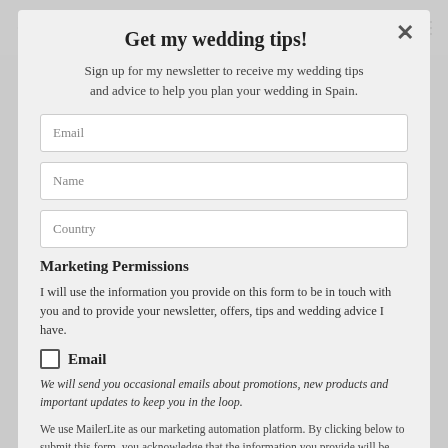Get my wedding tips!
Sign up for my newsletter to receive my wedding tips and advice to help you plan your wedding in Spain.
Email
Name
Country
Marketing Permissions
I will use the information you provide on this form to be in touch with you and to provide your newsletter, offers, tips and wedding advice I have.
Email
We will send you occasional emails about promotions, new products and important updates to keep you in the loop.
We use MailerLite as our marketing automation platform. By clicking below to submit this form, you acknowledge that the information you provide will be transferred to MailerLite